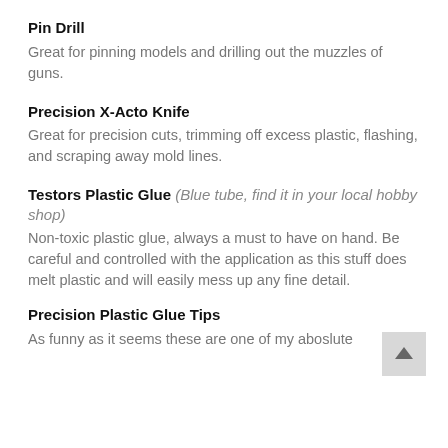Pin Drill
Great for pinning models and drilling out the muzzles of guns.
Precision X-Acto Knife
Great for precision cuts, trimming off excess plastic, flashing, and scraping away mold lines.
Testors Plastic Glue (Blue tube, find it in your local hobby shop)
Non-toxic plastic glue, always a must to have on hand. Be careful and controlled with the application as this stuff does melt plastic and will easily mess up any fine detail.
Precision Plastic Glue Tips
As funny as it seems these are one of my aboslute